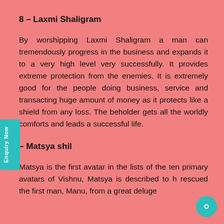8 – Laxmi Shaligram
By worshipping Laxmi Shaligram a man can tremendously progress in the business and expands it to a very high level very successfully. It provides extreme protection from the enemies. It is extremely good for the people doing business, service and transacting huge amount of money as it protects like a shield from any loss. The beholder gets all the worldly comforts and leads a successful life.
– Matsya shil
Matsya is the first avatar in the lists of the ten primary avatars of Vishnu, Matsya is described to h rescued the first man, Manu, from a great deluge